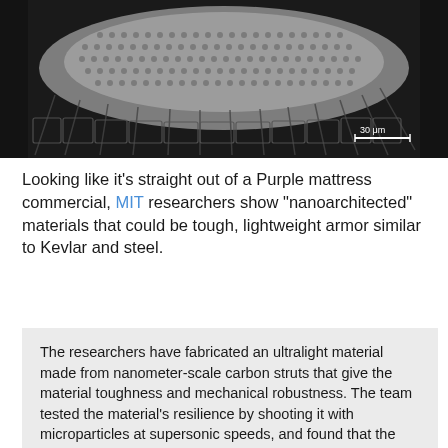[Figure (photo): Scanning electron microscope (SEM) image of a nanoarchitected material showing a lattice-like honeycomb structure with a scale bar reading '30 μm' in the lower right corner. The image is grayscale and shows intricate geometric patterning.]
Looking like it's straight out of a Purple mattress commercial, MIT researchers show "nanoarchitected" materials that could be tough, lightweight armor similar to Kevlar and steel.
The researchers have fabricated an ultralight material made from nanometer-scale carbon struts that give the material toughness and mechanical robustness. The team tested the material's resilience by shooting it with microparticles at supersonic speeds, and found that the material, which is thinner than the width of a human hair, prevented the miniature projectiles from tearing through it.
The researchers calculate that compared with steel, Kevlar, aluminum, and other